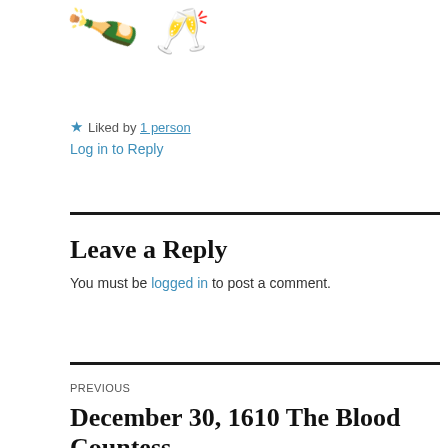[Figure (illustration): Champagne bottle emoji tilted to the left and a champagne flute glass emoji]
★ Liked by 1 person
Log in to Reply
Leave a Reply
You must be logged in to post a comment.
PREVIOUS
December 30, 1610 The Blood Countess